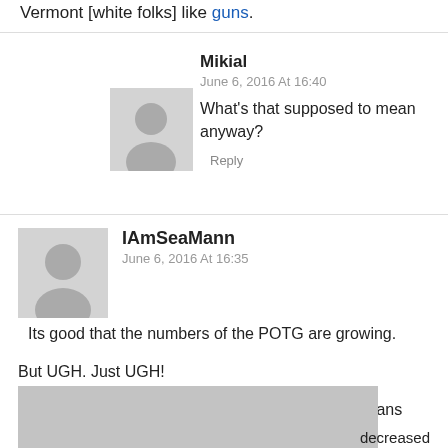Vermont [white folks] like guns.
Mikial
June 6, 2016 At 16:40
What's that supposed to mean anyway?
Reply
IAmSeaMann
June 6, 2016 At 16:35
Its good that the numbers of the POTG are growing.

But UGH. Just UGH!

But your first paragraph got more than I couple groans and eye rolls out of me, and I am a
"
... decreased
[Figure (photo): Partial image at bottom of page, appears to be a grayscale photograph, partially visible.]